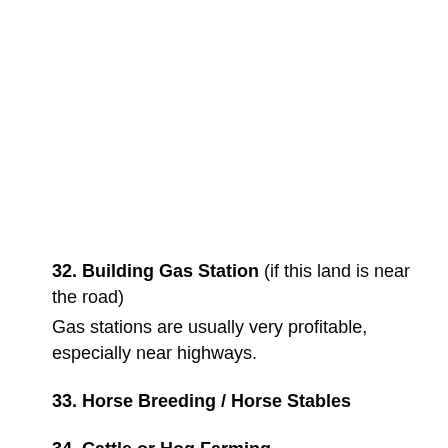32. Building Gas Station (if this land is near the road)
Gas stations are usually very profitable, especially near highways.
33. Horse Breeding / Horse Stables
34. Cattle or Hog Farming